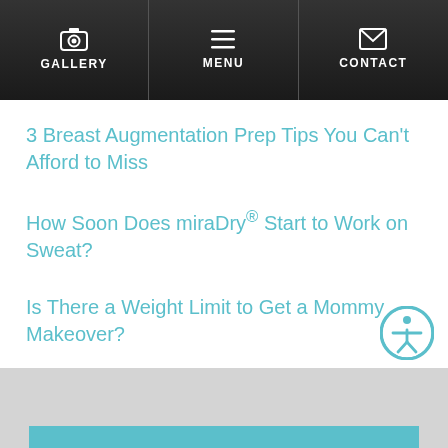GALLERY | MENU | CONTACT
3 Breast Augmentation Prep Tips You Can't Afford to Miss
How Soon Does miraDry® Start to Work on Sweat?
Is There a Weight Limit to Get a Mommy Makeover?